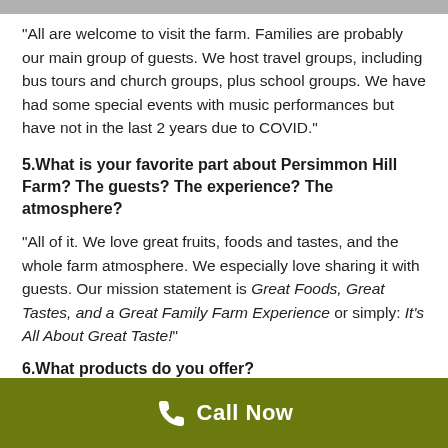“All are welcome to visit the farm. Families are probably our main group of guests. We host travel groups, including bus tours and church groups, plus school groups. We have had some special events with music performances but have not in the last 2 years due to COVID.”
5.What is your favorite part about Persimmon Hill Farm? The guests? The experience? The atmosphere?
“All of it. We love great fruits, foods and tastes, and the whole farm atmosphere. We especially love sharing it with guests. Our mission statement is Great Foods, Great Tastes, and a Great Family Farm Experience or simply: It’s All About Great Taste!”
6.What products do you offer?
Call Now